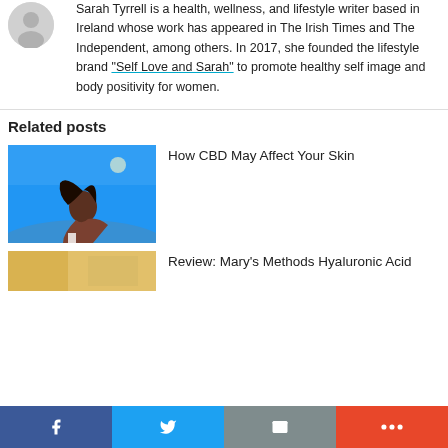Sarah Tyrrell is a health, wellness, and lifestyle writer based in Ireland whose work has appeared in The Irish Times and The Independent, among others. In 2017, she founded the lifestyle brand "Self Love and Sarah" to promote healthy self image and body positivity for women.
Related posts
[Figure (photo): Woman with head tilted back, blue sky background]
How CBD May Affect Your Skin
[Figure (photo): Partial thumbnail image with yellow/tan tones]
Review: Mary's Methods Hyaluronic Acid